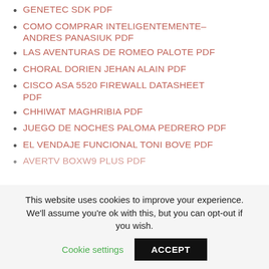GENETEC SDK PDF
COMO COMPRAR INTELIGENTEMENTE- ANDRES PANASIUK PDF
LAS AVENTURAS DE ROMEO PALOTE PDF
CHORAL DORIEN JEHAN ALAIN PDF
CISCO ASA 5520 FIREWALL DATASHEET PDF
CHHIWAT MAGHRIBIA PDF
JUEGO DE NOCHES PALOMA PEDRERO PDF
EL VENDAJE FUNCIONAL TONI BOVE PDF
AVERTV BOXW9 PLUS PDF
This website uses cookies to improve your experience. We'll assume you're ok with this, but you can opt-out if you wish.
Cookie settings
ACCEPT